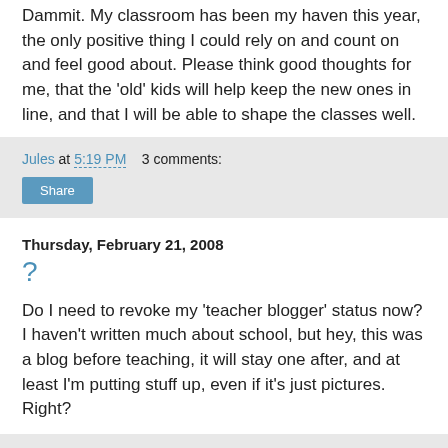Dammit. My classroom has been my haven this year, the only positive thing I could rely on and count on and feel good about. Please think good thoughts for me, that the 'old' kids will help keep the new ones in line, and that I will be able to shape the classes well.
Jules at 5:19 PM    3 comments:
Share
Thursday, February 21, 2008
?
Do I need to revoke my 'teacher blogger' status now? I haven't written much about school, but hey, this was a blog before teaching, it will stay one after, and at least I'm putting stuff up, even if it's just pictures. Right?
Jules at 2:02 PM    6 comments:
Share